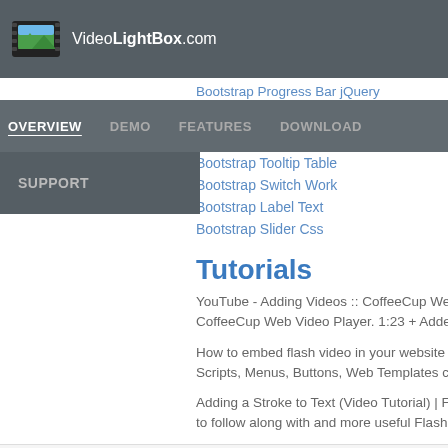VideoLightBox.com
OVERVIEW   DEMO   FEATURES   DOWNLOAD
SUPPORT
Bootstrap Progress Bar jQuery
Bootstrap Tooltip Table
Bootstrap Switch Work
Bootstrap Label Text
Bootstrap Slider Css
Tutorials
YouTube - Adding Videos :: CoffeeCup Web Video Player In CoffeeCup Web Video Player. 1:23 + Added to queue J.W. P
How to embed flash video in your website - Flash Tutorials, Scripts, Menus, Buttons, Web Templates code snippet into t
Adding a Stroke to Text (Video Tutorial) | Flash Tutorials Fla to follow along with and more useful Flash stuff.
FlashVideoToWebsite (c) 20